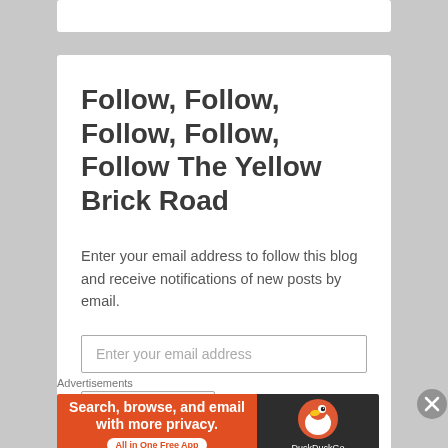Follow, Follow, Follow, Follow, Follow The Yellow Brick Road
Enter your email address to follow this blog and receive notifications of new posts by email.
Enter your email address
Panic Button
Advertisements
[Figure (illustration): DuckDuckGo advertisement banner: orange left side reading 'Search, browse, and email with more privacy. All in One Free App' and dark right side with DuckDuckGo duck logo and brand name.]